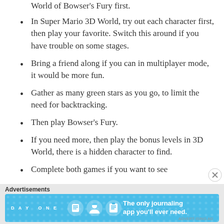World of Bowser's Fury first.
In Super Mario 3D World, try out each character first, then play your favorite. Switch this around if you have trouble on some stages.
Bring a friend along if you can in multiplayer mode, it would be more fun.
Gather as many green stars as you go, to limit the need for backtracking.
Then play Bowser's Fury.
If you need more, then play the bonus levels in 3D World, there is a hidden character to find.
Complete both games if you want to see
Advertisements
[Figure (screenshot): Day One journaling app advertisement banner with blue background, icons, and tagline 'The only journaling app you'll ever need.']